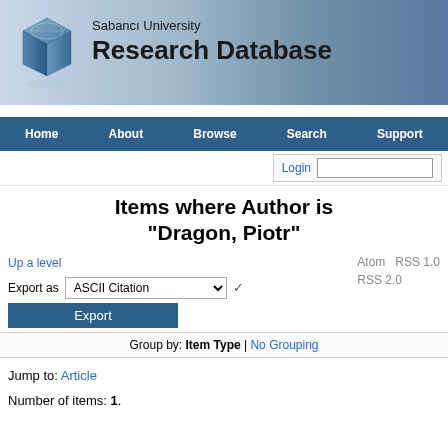[Figure (screenshot): Sabanci University Research Database banner with logo cube on left and building image on right]
[Figure (screenshot): Navigation bar with Home, About, Browse, Search, Support links on dark blue background]
[Figure (screenshot): Login bar with Login link and text input field]
Items where Author is "Dragon, Piotr"
Up a level
Export as ASCII Citation Export
Atom RSS 1.0 RSS 2.0
Group by: Item Type | No Grouping
Jump to: Article
Number of items: 1.